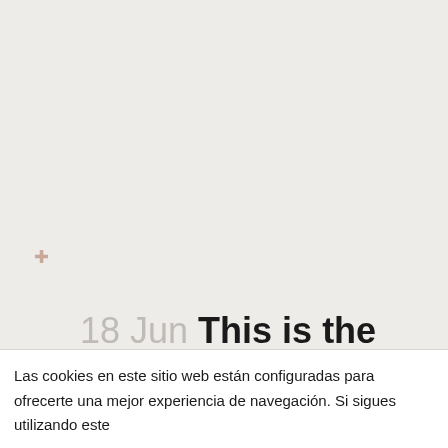18 Jun This is the best free dating website online
outpersonals
hookup sites   ernesto bustamante   0
Comentarios   0 Likes
Las cookies en este sitio web están configuradas para ofrecerte una mejor experiencia de navegación. Si sigues utilizando este